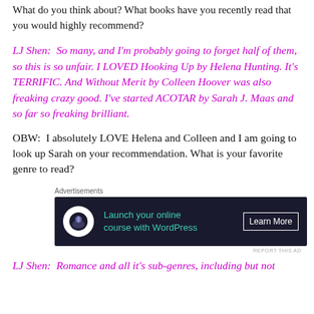What do you think about? What books have you recently read that you would highly recommend?
LJ Shen:  So many, and I'm probably going to forget half of them, so this is so unfair. I LOVED Hooking Up by Helena Hunting. It's TERRIFIC. And Without Merit by Colleen Hoover was also freaking crazy good. I've started ACOTAR by Sarah J. Maas and so far so freaking brilliant.
OBW:  I absolutely LOVE Helena and Colleen and I am going to look up Sarah on your recommendation. What is your favorite genre to read?
[Figure (screenshot): Advertisement banner: 'Launch your online course with WordPress' with Learn More button on dark background]
LJ Shen:  Romance and all it's sub-genres, including but not